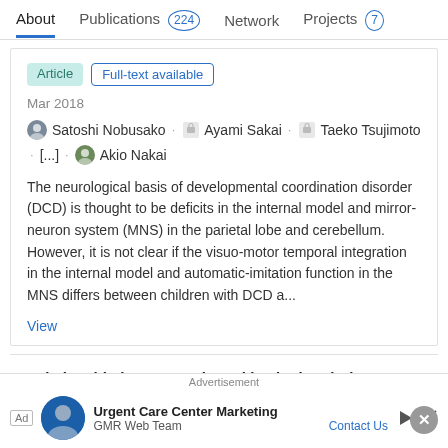About   Publications 224   Network   Projects 7
Article   Full-text available
Mar 2018
Satoshi Nobusako · Ayami Sakai · Taeko Tsujimoto · [...] · Akio Nakai
The neurological basis of developmental coordination disorder (DCD) is thought to be deficits in the internal model and mirror-neuron system (MNS) in the parietal lobe and cerebellum. However, it is not clear if the visuo-motor temporal integration in the internal model and automatic-imitation function in the MNS differs between children with DCD a...
View
Relationship between pain and hesitation during movement initiation after distal radius fracture surgery: A preliminary study
Advertisement
Ad   Urgent Care Center Marketing   GMR Web Team   Contact Us